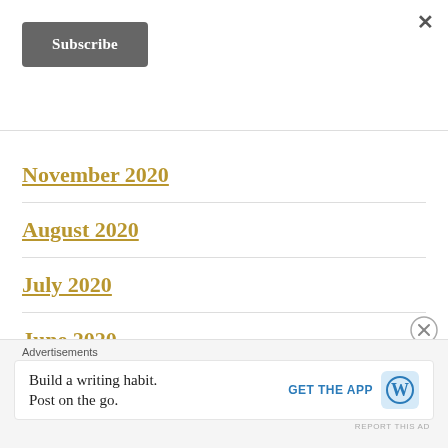×
Subscribe
November 2020
August 2020
July 2020
June 2020
May 2020
Advertisements
Build a writing habit. Post on the go.
GET THE APP